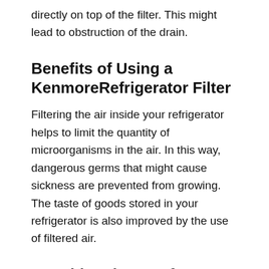directly on top of the filter. This might lead to obstruction of the drain.
Benefits of Using a KenmoreRefrigerator Filter
Filtering the air inside your refrigerator helps to limit the quantity of microorganisms in the air. In this way, dangerous germs that might cause sickness are prevented from growing. The taste of goods stored in your refrigerator is also improved by the use of filtered air.
Considerations Before Installing a Kenmore RefrigeratorFilter
Some refrigerators are equipped with built-in filters. Others necessitate the purchase of extra